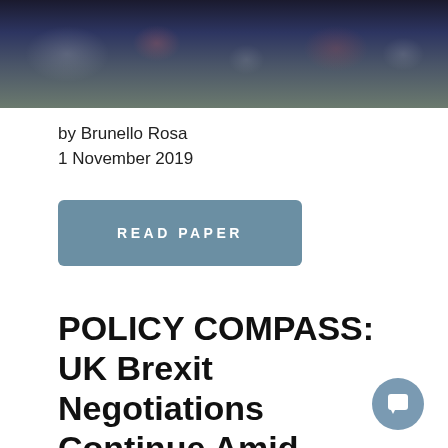[Figure (photo): Crowd scene with Union Jack and England flags being waved outdoors, likely a Brexit-related rally or public event.]
by Brunello Rosa
1 November 2019
READ PAPER
POLICY COMPASS: UK Brexit Negotiations Continue Amid Increasing Uncertainty